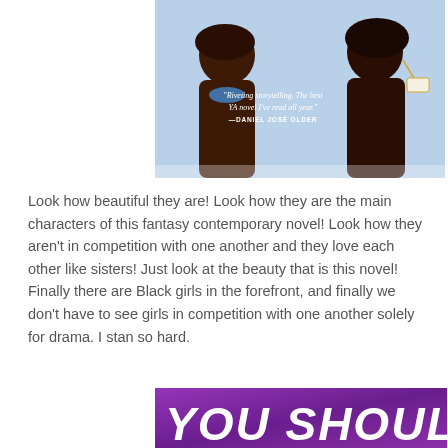[Figure (illustration): Book cover showing two Black women in profile against a blue background, with a quote: 'Riveting storytelling. The best YA novel I've read all year.' —Daniel José Older]
Look how beautiful they are! Look how they are the main characters of this fantasy contemporary novel! Look how they aren't in competition with one another and they love each other like sisters! Just look at the beauty that is this novel! Finally there are Black girls in the forefront, and finally we don't have to see girls in competition with one another solely for drama. I stan so hard.
[Figure (illustration): Book cover with purple background showing large white hand-lettered text reading 'YOU SHOULD']